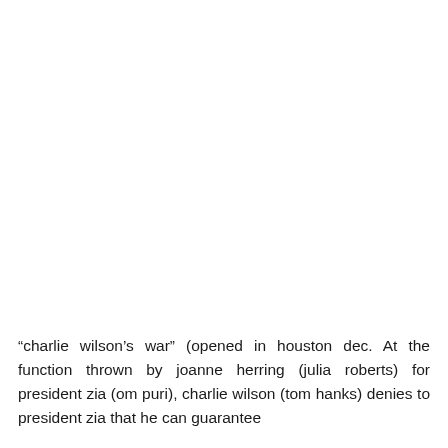“charlie wilson’s war” (opened in houston dec. At the function thrown by joanne herring (julia roberts) for president zia (om puri), charlie wilson (tom hanks) denies to president zia that he can guarantee